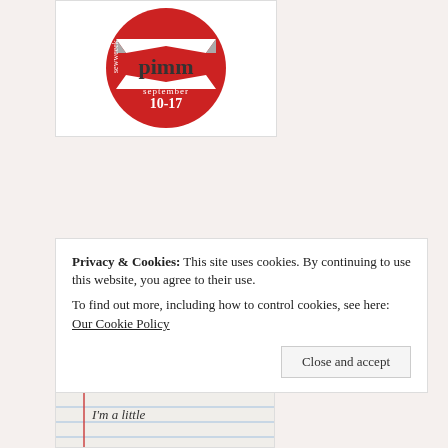[Figure (logo): Red circular badge with text 'pimm' and 'september 10-17', labeled 'sewweeek' around the edge]
PETS ON QUILTS - AUGUST 2013
[Figure (logo): Colorful graphic with text 'PETS ON QUILTS' in large white letters on red/green/orange background with white arrow pointing down]
Privacy & Cookies: This site uses cookies. By continuing to use this website, you agree to their use.
To find out more, including how to control cookies, see here: Our Cookie Policy
[Figure (photo): Partial image at bottom showing handwritten text 'I'm a little']